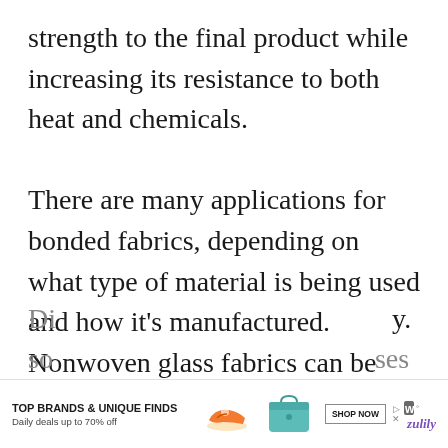strength to the final product while increasing its resistance to both heat and chemicals.

There are many applications for bonded fabrics, depending on what type of material is being used and how it's manufactured. Nonwoven glass fabrics can be used for insulation purposes; metal meshes can be found in protective shields; certain textiles made with Kevlar® aramid fiber are used in
[Figure (other): Advertisement banner: TOP BRANDS & UNIQUE FINDS, Daily deals up to 70% off, with shoe and bag images, SHOP NOW button, Zulily logo]